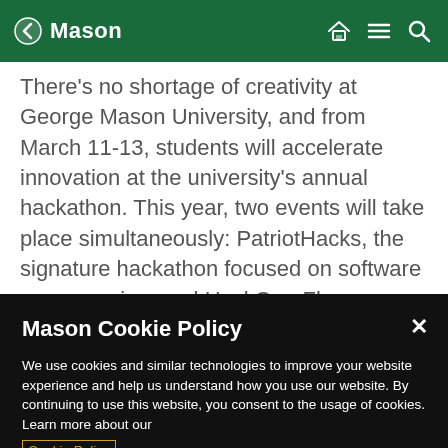Mason
There's no shortage of creativity at George Mason University, and from March 11-13, students will accelerate innovation at the university's annual hackathon. This year, two events will take place simultaneously: PatriotHacks, the signature hackathon focused on software programming, and HackOverFlow, a new hackathon with a focus on
Mason Cookie Policy
We use cookies and similar technologies to improve your website experience and help us understand how you use our website. By continuing to use this website, you consent to the usage of cookies. Learn more about our Cookie Policy
Cookie Preferences
Accept Cookies